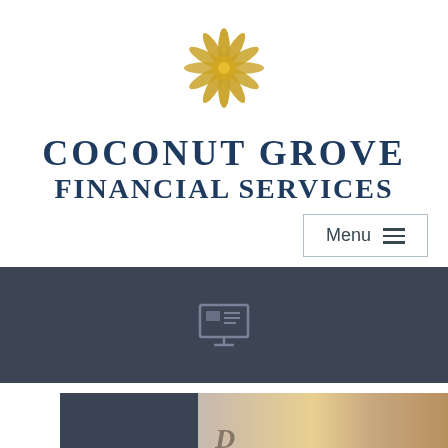[Figure (logo): Coconut Grove Financial Services logo — a circular golden swirl/shell motif]
COCONUT GROVE FINANCIAL SERVICES
[Figure (other): Navigation menu button with hamburger icon showing 'Menu' text]
[Figure (other): Dark gray banner section with a monitor/presentation icon in the center]
[Figure (photo): Partial photo strip at the bottom showing people, partially cut off, with a dark block overlay on the left side]